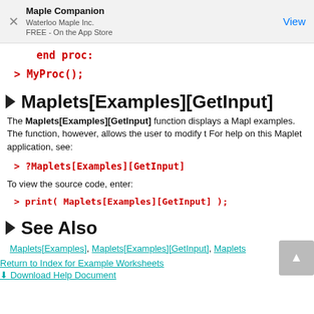Maple Companion
Waterloo Maple Inc.
FREE - On the App Store
end proc:
> MyProc();
Maplets[Examples][GetInput]
The Maplets[Examples][GetInput] function displays a Maplet examples. The function, however, allows the user to modify t For help on this Maplet application, see:
> ?Maplets[Examples][GetInput]
To view the source code, enter:
> print( Maplets[Examples][GetInput] );
See Also
Maplets[Examples], Maplets[Examples][GetInput], Maplets
Return to Index for Example Worksheets
Download Help Document